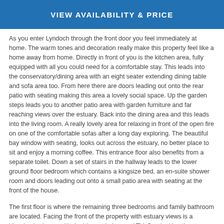VIEW AVAILABILITY & PRICE
As you enter Lyndoch through the front door you feel immediately at home. The warm tones and decoration really make this property feel like a home away from home. Directly in front of you is the kitchen area, fully equipped with all you could need for a comfortable stay. This leads into the conservatory/dining area with an eight seater extending dining table and sofa area too. From here there are doors leading out onto the rear patio with seating making this area a lovely social space. Up the garden steps leads you to another patio area with garden furniture and far reaching views over the estuary. Back into the dining area and this leads into the living room. A really lovely area for relaxing in front of the open fire on one of the comfortable sofas after a long day exploring. The beautiful bay window with seating, looks out across the estuary, no better place to sit and enjoy a morning coffee. This entrance floor also benefits from a separate toilet. Down a set of stairs in the hallway leads to the lower ground floor bedroom which contains a kingsize bed, an en-suite shower room and doors leading out onto a small patio area with seating at the front of the house.
The first floor is where the remaining three bedrooms and family bathroom are located. Facing the front of the property with estuary views is a kingsize bedroom with double wardrobes and TV. Overlooking the rear landscaped garden are another two bedrooms, one with a double bed and wardrobe storage and one with a double bed and additional single ‘top bunk’ like bed accessed via a small ladder, a perfect children’s room.
The property as a whole makes for a wonderful holiday accommodation and is